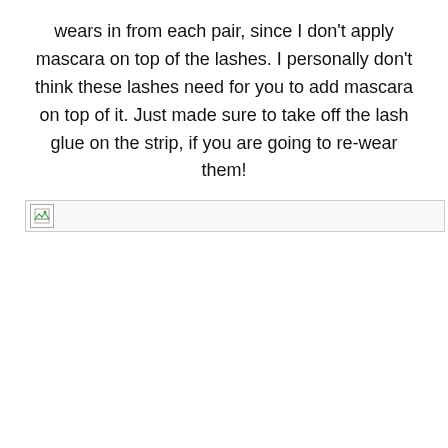wears in from each pair, since I don't apply mascara on top of the lashes. I personally don't think these lashes need for you to add mascara on top of it. Just made sure to take off the lash glue on the strip, if you are going to re-wear them!
[Figure (photo): Broken image placeholder with small image icon in top-left corner and a border outline]